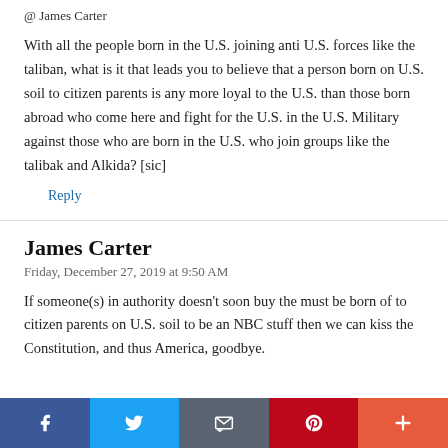@ James Carter
With all the people born in the U.S. joining anti U.S. forces like the taliban, what is it that leads you to believe that a person born on U.S. soil to citizen parents is any more loyal to the U.S. than those born abroad who come here and fight for the U.S. in the U.S. Military against those who are born in the U.S. who join groups like the talibak and Alkida? [sic]
Reply
James Carter
Friday, December 27, 2019 at 9:50 AM
If someone(s) in authority doesn’t soon buy the must be born of to citizen parents on U.S. soil to be an NBC stuff then we can kiss the Constitution, and thus America, goodbye.
[Figure (infographic): Social sharing bar with Facebook, Twitter, Email, Pinterest, and More buttons]